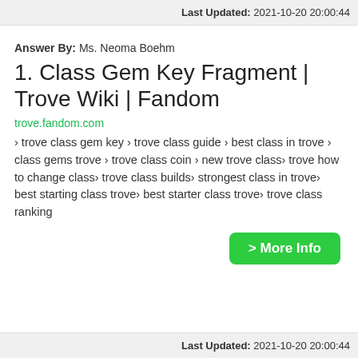Last Updated: 2021-10-20 20:00:44
Answer By: Ms. Neoma Boehm
1. Class Gem Key Fragment | Trove Wiki | Fandom
trove.fandom.com
› trove class gem key › trove class guide › best class in trove › class gems trove › trove class coin › new trove class› trove how to change class› trove class builds› strongest class in trove› best starting class trove› best starter class trove› trove class ranking
> More Info
Last Updated: 2021-10-20 20:00:44